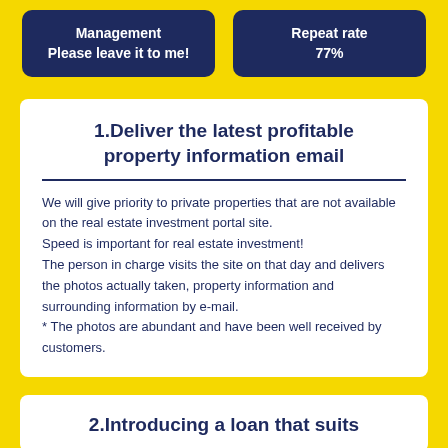Management
Please leave it to me!
Repeat rate
77%
1. Deliver the latest profitable property information email
We will give priority to private properties that are not available on the real estate investment portal site. Speed is important for real estate investment! The person in charge visits the site on that day and delivers the photos actually taken, property information and surrounding information by e-mail.
* The photos are abundant and have been well received by customers.
2. Introducing a loan that suits